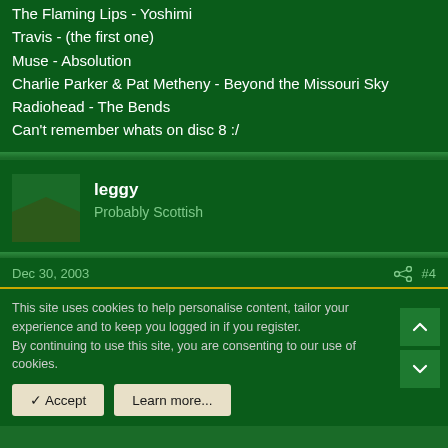The Flaming Lips - Yoshimi
Travis - (the first one)
Muse - Absolution
Charlie Parker & Pat Metheny - Beyond the Missouri Sky
Radiohead - The Bends
Can't remember whats on disc 8 :/
leggy
Probably Scottish
Dec 30, 2003
#4
Rammstein - Mutter
No Doubt - The singles (lame but class)
This site uses cookies to help personalise content, tailor your experience and to keep you logged in if you register.
By continuing to use this site, you are consenting to our use of cookies.
Accept
Learn more...